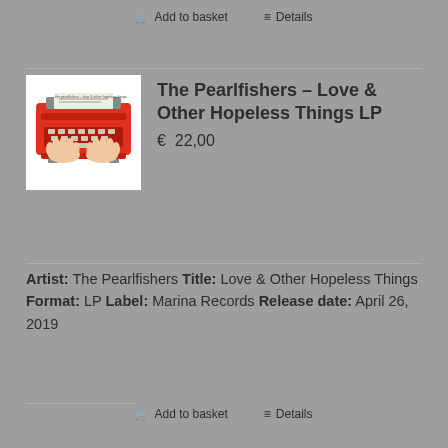Add to basket   Details
[Figure (photo): Album cover showing a red typewriter with hands typing on it, white background]
The Pearlfishers – Love & Other Hopeless Things LP
€ 22,00
Artist: The Pearlfishers Title: Love & Other Hopeless Things Format: LP Label: Marina Records Release date: April 26, 2019
Add to basket   Details